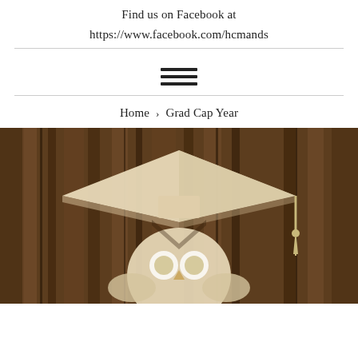Find us on Facebook at
https://www.facebook.com/hcmands
[Figure (illustration): Hamburger menu icon with three horizontal lines]
Home › Grad Cap Year
[Figure (photo): Wooden background with a light-colored graduation cap (mortarboard) cutout image, showing a grad cap over what appears to be an owl or figure below]